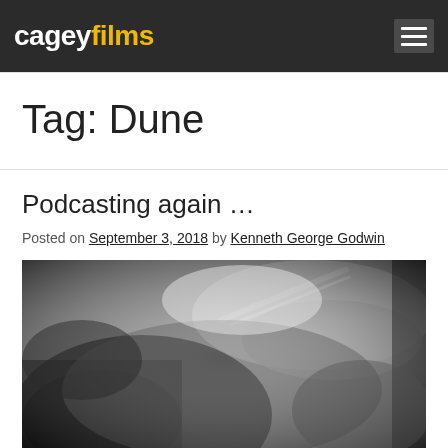cageyfilms
Tag: Dune
Podcasting again …
Posted on September 3, 2018 by Kenneth George Godwin
[Figure (photo): Black and white close-up photograph of hands working with a tool, possibly sculpting or crafting, with dramatic lighting and grainy film texture.]